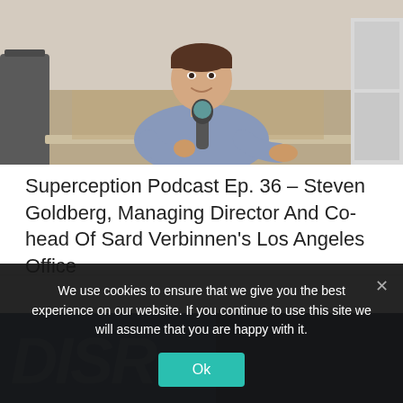[Figure (photo): Man sitting at a table holding a microphone, wearing a grey shirt, in an indoor setting]
Superception Podcast Ep. 36 – Steven Goldberg, Managing Director And Co-head Of Sard Verbinnen's Los Angeles Office
16 September 2018
Conversation on corporate communications on legal issues with Steven Goldberg, managing director and co-head of Sard Verbinnen's Los Angeles office.
[Figure (photo): Partial view of another article image with dark blue background and large white text]
We use cookies to ensure that we give you the best experience on our website. If you continue to use this site we will assume that you are happy with it.